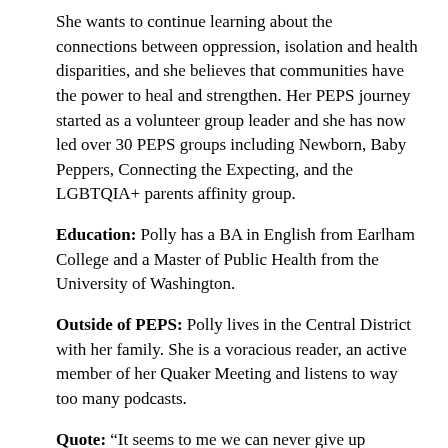She wants to continue learning about the connections between oppression, isolation and health disparities, and she believes that communities have the power to heal and strengthen. Her PEPS journey started as a volunteer group leader and she has now led over 30 PEPS groups including Newborn, Baby Peppers, Connecting the Expecting, and the LGBTQIA+ parents affinity group.
Education: Polly has a BA in English from Earlham College and a Master of Public Health from the University of Washington.
Outside of PEPS: Polly lives in the Central District with her family. She is a voracious reader, an active member of her Quaker Meeting and listens to way too many podcasts.
Quote: “It seems to me we can never give up longing and wishing while we are still alive. There are certain things we feel to be beautiful and good, and we must hunger for them.” —George Eliot
Contact: pollyj [at] peps [dot] org / (206) 508-1764